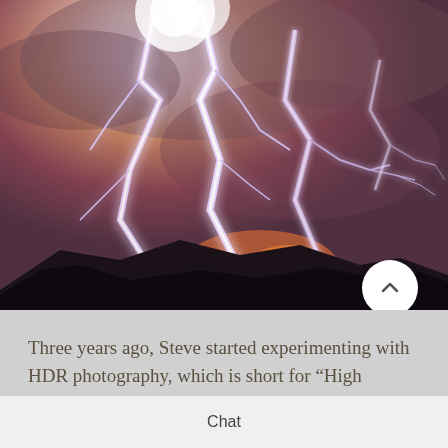[Figure (photo): A dramatic lightning storm photograph showing multiple bright lightning bolts striking over a dark desert mountain silhouette against an orange-red stormy sky. Several large lightning strikes are visible, with branching bolts illuminating the scene from a central bright point near the top left.]
Three years ago, Steve started experimenting with HDR photography, which is short for “High Dynamic Range.” It entails taking two or more different exposures and
Chat